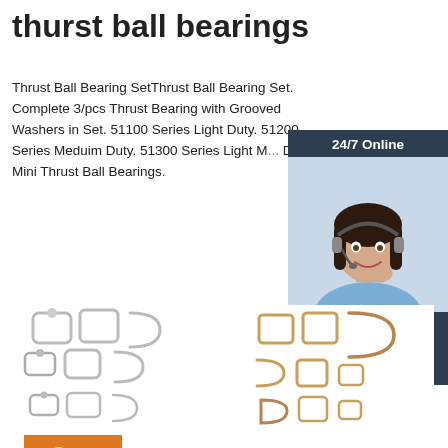thurst ball bearings
Thrust Ball Bearing SetThrust Ball Bearing Set. Complete 3/pcs Thrust Bearing with Grooved Washers in Set. 51100 Series Light Duty. 51200 Series Meduim Duty. 51300 Series Light M... Duty. Mini Thrust Ball Bearings.
[Figure (illustration): Button showing 'Get Price' in white text on orange background]
[Figure (photo): 24/7 Online chat widget with a smiling female customer service representative wearing a headset, dark background, with 'Click here for free chat!' text and a QUOTATION button]
[Figure (photo): Two groups of metal bearing spacer/retainer hardware parts shown at bottom of page - left group silver/chrome colored, right group gold/bronze colored]